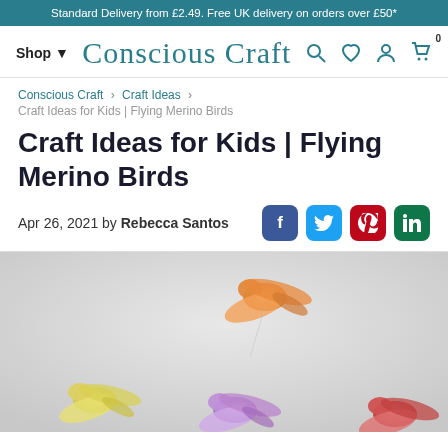Standard Delivery from £2.49. Free UK delivery on orders over £50*
[Figure (screenshot): Conscious Craft website navigation bar with Shop menu, logo in cursive script, and icons for search, wishlist, account, and cart (0 items)]
Conscious Craft › Craft Ideas ›
Craft Ideas for Kids | Flying Merino Birds
Craft Ideas for Kids | Flying Merino Birds
Apr 26, 2021 by Rebecca Santos
[Figure (photo): Photo of colorful felted wool flying bird ornaments hanging in the air against a light grey background. Visible birds include an orange bird at top, and yellow, purple, and red birds at the bottom.]